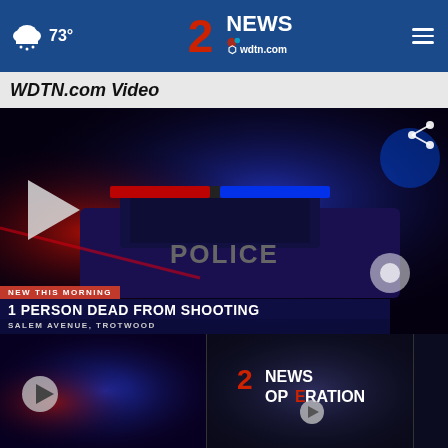73° WDTN News wdtn.com
WDTN.com Video
[Figure (screenshot): News video thumbnail showing police car with blue and red lights at night. Lower-third overlay reads: NEW THIS MORNING / 1 PERSON DEAD FROM SHOOTING / SALEM AVENUE, TROTWOOD. A play button and share icon are visible.]
[Figure (screenshot): Thumbnail 1: Police scene with blue/red lights, play button overlay]
[Figure (screenshot): Thumbnail 2: Channel 2 News Operation graphic, play button overlay]
[Figure (screenshot): Thumbnail 3: Partially visible third video thumbnail]